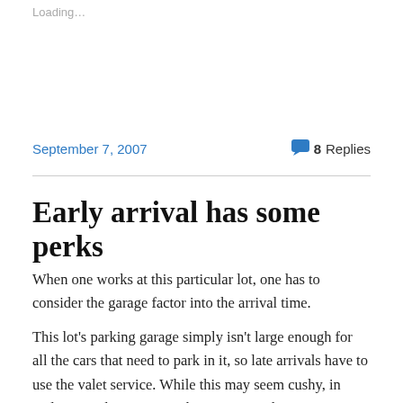Loading…
September 7, 2007    💬 8 Replies
Early arrival has some perks
When one works at this particular lot, one has to consider the garage factor into the arrival time.
This lot's parking garage simply isn't large enough for all the cars that need to park in it, so late arrivals have to use the valet service. While this may seem cushy, in reality it's a huge pain in the ass. Since shooting companies work far later than do the valets, the solution is for the valet to park the car in a space that opens up after the garage empties out, and then take the keys to the front gate (on the other